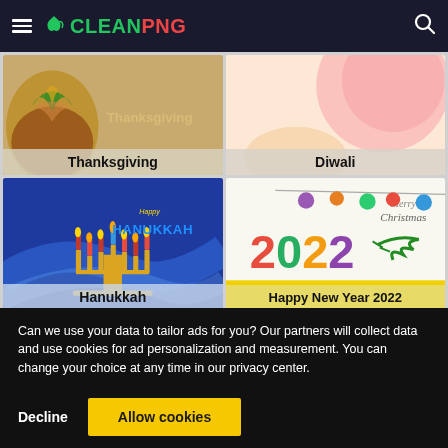[Figure (screenshot): CleanPNG website header with hamburger menu, green leaf logo, CLEANPNG text (green/red), and search icon on dark background]
[Figure (illustration): Thanksgiving themed card with autumn colors and text label 'Thanksgiving']
[Figure (illustration): Diwali themed card with pink/peach background and text label 'Diwali']
[Figure (illustration): Hanukkah card with blue background, menorah illustration, Happy HANUKKAH text, labeled 'Hanukkah']
[Figure (illustration): Happy New Year 2022 card with Merry Christmas script, colorful 2022 text, pine branch, labeled 'Happy New Year 2022']
Can we use your data to tailor ads for you? Our partners will collect data and use cookies for ad personalization and measurement. You can change your choice at any time in our privacy center.
Decline
Allow cookies